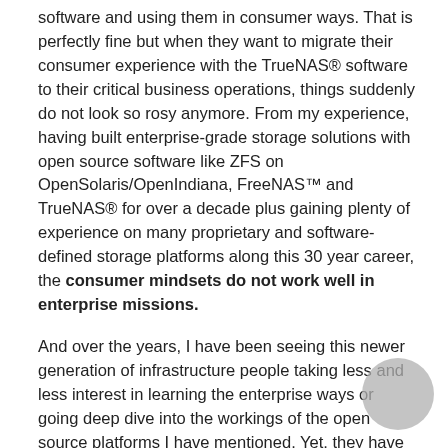software and using them in consumer ways. That is perfectly fine but when they want to migrate their consumer experience with the TrueNAS® software to their critical business operations, things suddenly do not look so rosy anymore. From my experience, having built enterprise-grade storage solutions with open source software like ZFS on OpenSolaris/OpenIndiana, FreeNAS™ and TrueNAS® for over a decade plus gaining plenty of experience on many proprietary and software-defined storage platforms along this 30 year career, the consumer mindsets do not work well in enterprise missions.
And over the years, I have been seeing this newer generation of infrastructure people taking less and less interest in learning the enterprise ways or going deep dive into the workings of the open source platforms I have mentioned. Yet, they have lofty enterprise expectations while carrying a consumer mindset. More and more, I am seeing a greying crew of storage practitioners with enterprise experiences dealing with a new generation of organizations and end users with consumer practices and mindsets.